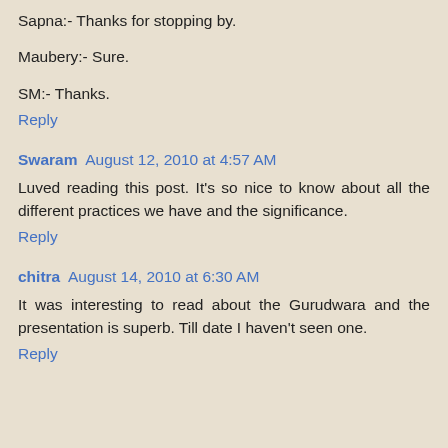Sapna:- Thanks for stopping by.
Maubery:- Sure.
SM:- Thanks.
Reply
Swaram  August 12, 2010 at 4:57 AM
Luved reading this post. It's so nice to know about all the different practices we have and the significance.
Reply
chitra  August 14, 2010 at 6:30 AM
It was interesting to read about the Gurudwara and the presentation is superb. Till date I haven't seen one.
Reply